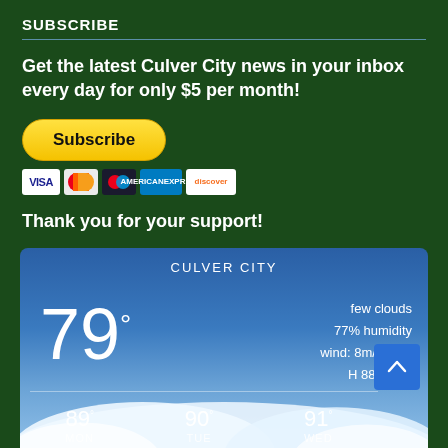SUBSCRIBE
Get the latest Culver City news in your inbox every day for only $5 per month!
[Figure (other): PayPal Subscribe button with payment card icons (Visa, Mastercard, PayPass, American Express, Discover)]
Thank you for your support!
[Figure (other): Weather widget for Culver City showing 79° temperature, few clouds, 77% humidity, wind: 8m/s ESE, H 88 • L 73, with forecast showing MON 89°, TUE 90°, WED 91°]